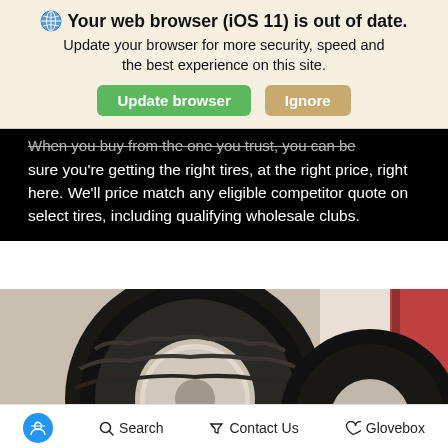🌐 Your web browser (iOS 11) is out of date. Update your browser for more security, speed and the best experience on this site.
Update browser | Ignore
When you buy from the one you trust, you can be sure you're getting the right tires, at the right price, right here. We'll price match any eligible competitor quote on select tires, including qualifying wholesale clubs.
[Figure (photo): Close-up photo of car tires on a vehicle in an automotive service bay, with a red lift visible on the right side.]
Search   Contact Us   Glovebox